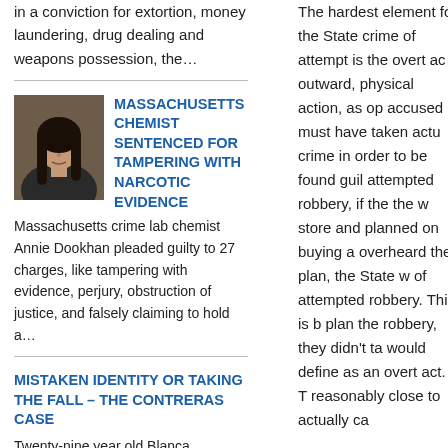in a conviction for extortion, money laundering, drug dealing and weapons possession, the…
[Figure (photo): Photo of Annie Dookhan, a woman with long dark hair]
MASSACHUSETTS CHEMIST SENTENCED FOR TAMPERING WITH NARCOTIC EVIDENCE
Massachusetts crime lab chemist Annie Dookhan pleaded guilty to 27 charges, like tampering with evidence, perjury, obstruction of justice, and falsely claiming to hold a…
MISTAKEN IDENTITY OR TAKING THE FALL – THE CONTRERAS CASE
Twenty-nine year old Blanca Contreras, a Guatemalan native, has been charged with vehicular
The hardest element for the State crime of attempt is the overt ac outward, physical action, as op accused must have taken actu crime in order to be found guil attempted robbery, if the the w store and planned on buying a overheard the plan, the State w of attempted robbery. This is b plan the robbery, they didn't ta would define as an overt act. T reasonably close to actually ca
Now that we know what an ove overt act is, granted this is all s the accused. However it is saf would be robber acquired the g the State would be able to pro preparations and planning and committing the crime.
The crime of attempt is one o